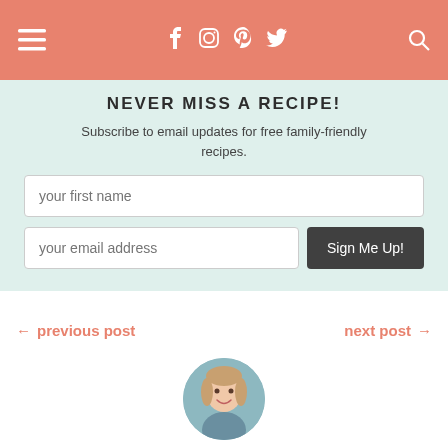≡  f  ⊙  𝗣  🐦  🔍
NEVER MISS A RECIPE!
Subscribe to email updates for free family-friendly recipes.
← previous post   next post →
[Figure (photo): Circular profile photo of a smiling woman with light brown hair]
I'm Kelly. Wife, mom of three, coffee addict, & crockpot obsessed! Join me as I share my favorite